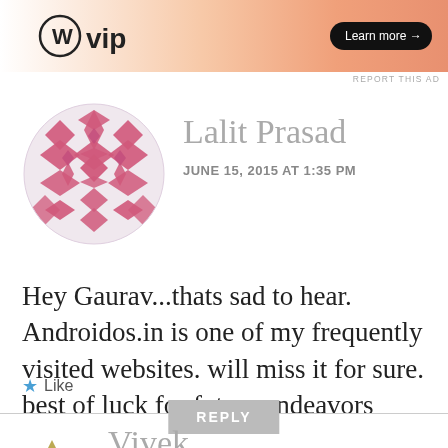[Figure (screenshot): WordPress VIP advertisement banner with logo on left and Learn more button on right, orange gradient background]
REPORT THIS AD
[Figure (illustration): Circular avatar with pink geometric flower/snowflake tile pattern for user Lalit Prasad]
Lalit Prasad
JUNE 15, 2015 AT 1:35 PM
Hey Gaurav...thats sad to hear. Androidos.in is one of my frequently visited websites. will miss it for sure. best of luck for future endeavors
Like
REPLY
[Figure (illustration): Partial geometric avatar in gold/olive tones for user Vivek, bottom of page]
Vivek